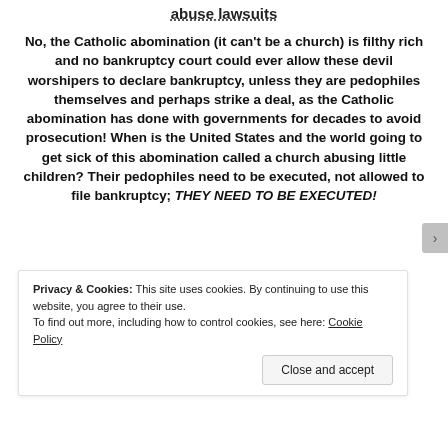abuse lawsuits
No, the Catholic abomination (it can't be a church) is filthy rich and no bankruptcy court could ever allow these devil worshipers to declare bankruptcy, unless they are pedophiles themselves and perhaps strike a deal, as the Catholic abomination has done with governments for decades to avoid prosecution! When is the United States and the world going to get sick of this abomination called a church abusing little children? Their pedophiles need to be executed, not allowed to file bankruptcy; THEY NEED TO BE EXECUTED!
Privacy & Cookies: This site uses cookies. By continuing to use this website, you agree to their use.
To find out more, including how to control cookies, see here: Cookie Policy